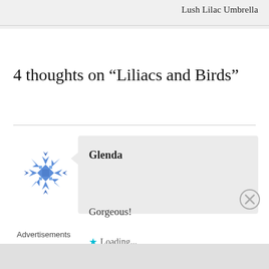Lush Lilac Umbrella
4 thoughts on “Liliacs and Birds”
Glenda
Gorgeous!
Loading...
Advertisements